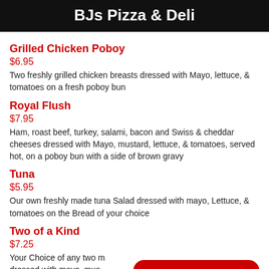BJs Pizza & Deli
Grilled Chicken Poboy
$6.95
Two freshly grilled chicken breasts dressed with Mayo, lettuce, & tomatoes on a fresh poboy bun
Royal Flush
$7.95
Ham, roast beef, turkey, salami, bacon and Swiss & cheddar cheeses dressed with Mayo, mustard, lettuce, & tomatoes, served hot, on a poboy bun with a side of brown gravy
Tuna
$5.95
Our own freshly made tuna Salad dressed with mayo, Lettuce, & tomatoes on the Bread of your choice
Two of a Kind
$7.25
Your Choice of any two m... dressed with mayo, must... tomatoes, served hot, on...
CONTACT US TODAY!